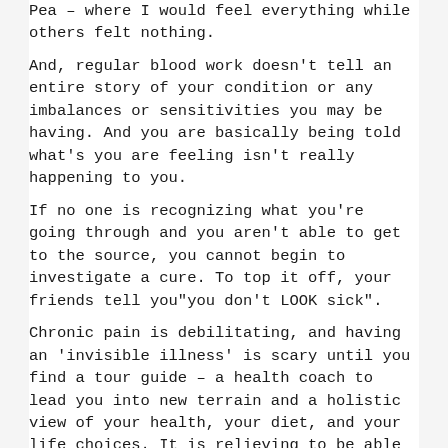Pea – where I would feel everything while others felt nothing.
And, regular blood work doesn't tell an entire story of your condition or any imbalances or sensitivities you may be having.  And you are basically being told what's you are feeling isn't really happening to you.
If no one is recognizing what you're going through and you aren't able to get to the source, you cannot begin to investigate a cure. To top it off, your friends tell you"you don't LOOK sick".
Chronic pain is debilitating, and having an 'invisible illness' is scary until you find a tour guide – a health coach to lead you into new terrain and a holistic view of your health, your diet, and your life choices.  It is relieving to be able to take away the guess work with a DNA test and customized health approach.  You no longer need to feel like a guinea pig, and there's relief from the frustration in the hit and miss healthcare from the past. And as an advocate for your own health, you